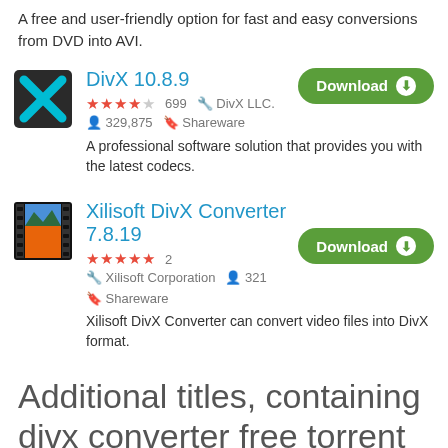A free and user-friendly option for fast and easy conversions from DVD into AVI.
DivX 10.8.9
★★★★☆ 699  🔧 DivX LLC.  👤 329,875  🔖 Shareware
A professional software solution that provides you with the latest codecs.
Xilisoft DivX Converter 7.8.19
★★★★★ 2  🔧 Xilisoft Corporation  👤 321  🔖 Shareware
Xilisoft DivX Converter can convert video files into DivX format.
Additional titles, containing divx converter free torrent mac
MediaVideoConverter DVD to DivX